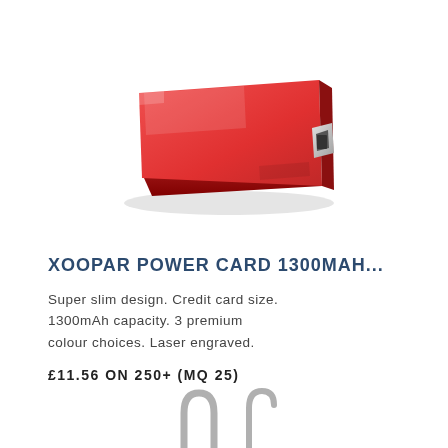[Figure (photo): A red slim credit-card sized power bank (Xoopar Power Card) shown at an angle on white background, with a silver USB port on the right edge.]
XOOPAR POWER CARD 1300MAH...
Super slim design. Credit card size. 1300mAh capacity. 3 premium colour choices. Laser engraved.
£11.56 ON 250+ (MQ 25)
[Figure (photo): Partial view of cable connectors at the bottom of the page, showing what appear to be USB or charging cable ends in silver/grey.]